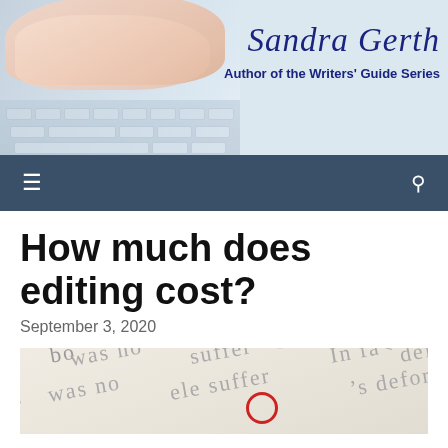[Figure (photo): Website header banner with hands typing on a keyboard on the left, and Sandra Gerth author branding on the right]
Sandra Gerth
Author of the Writers' Guide Series
[Figure (screenshot): Navigation bar with hamburger menu icon on left and search icon on right, dark blue-gray background]
How much does editing cost?
September 3, 2020
[Figure (photo): Close-up photo of printed text with a red circle editorial mark, showing words like 'was not', 'suffer', 'In fact', 'defor', with blurred text in background]